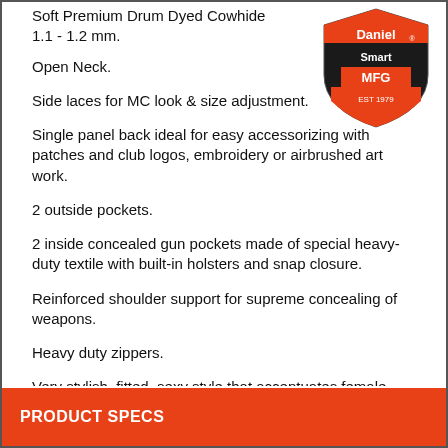Soft Premium Drum Dyed Cowhide 1.1 - 1.2 mm.
[Figure (logo): Daniel Smart MFG shield logo, orange and black, EST 1979]
Open Neck.
Side laces for MC look & size adjustment.
Single panel back ideal for easy accessorizing with patches and club logos, embroidery or airbrushed art work.
2 outside pockets.
2 inside concealed gun pockets made of special heavy-duty textile with built-in holsters and snap closure.
Reinforced shoulder support for supreme concealing of weapons.
Heavy duty zippers.
Very stylish, fitted, sexy style that accentuates female form.
PRODUCT SPECS